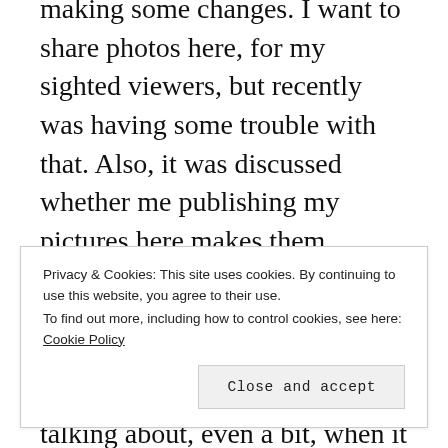making some changes. I want to share photos here, for my sighted viewers, but recently was having some trouble with that. Also, it was discussed whether me publishing my pictures here makes them property of WP and if I should move all my writing to a site all my own. I am thankful I have a friend who knows what he’s talking about, even a bit, when it comes to all that.
“Oh, something…
Privacy & Cookies: This site uses cookies. By continuing to use this website, you agree to their use.
To find out more, including how to control cookies, see here: Cookie Policy
Close and accept